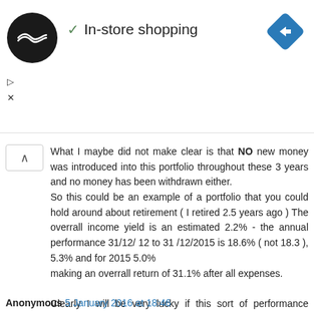[Figure (logo): Ad banner with circular logo, checkmark, 'In-store shopping' text, and blue diamond navigation icon]
What I maybe did not make clear is that NO new money was introduced into this portfolio throughout these 3 years and no money has been withdrawn either.
So this could be an example of a portfolio that you could hold around about retirement ( I retired 2.5 years ago ) The overrall income yield is an estimated 2.2% - the annual performance 31/12/ 12 to 31 /12/2015 is 18.6% ( not 18.3 ), 5.3% and for 2015 5.0%
making an overrall return of 31.1% after all expenses.

Clearly I will be very lucky if this sort of performance continues - but I would not be buying mainstream bonds at present as they seem significantly over-valued.
Reply
Anonymous 5 January 2016 at 18:46